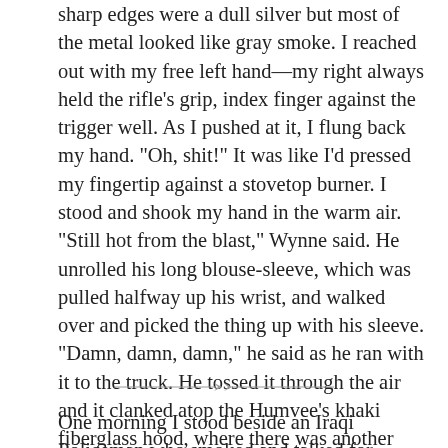sharp edges were a dull silver but most of the metal looked like gray smoke. I reached out with my free left hand—my right always held the rifle's grip, index finger against the trigger well. As I pushed at it, I flung back my hand. "Oh, shit!" It was like I'd pressed my fingertip against a stovetop burner. I stood and shook my hand in the warm air. "Still hot from the blast," Wynne said. He unrolled his long blouse-sleeve, which was pulled halfway up his wrist, and walked over and picked the thing up with his sleeve. "Damn, damn, damn," he said as he ran with it to the truck. He tossed it through the air and it clanked atop the Humvee's khaki fiberglass hood, where there was another piece, almost twice as long. "Wait for it to cool off," Wynne said. "I'm going to take that bigger one."
[Figure (other): Decorative section divider: a horizontal line with a small diamond-arrow ornament in the center]
One morning I stood beside an Iraqi Policeman who smoked and talked for hours. We were pulling security